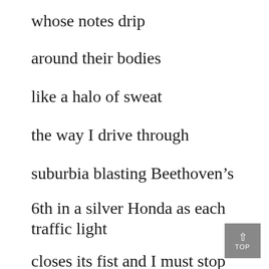whose notes drip
around their bodies
like a halo of sweat
the way I drive through
suburbia blasting Beethoven’s
6th in a silver Honda as each traffic light
closes its fist and I must stop